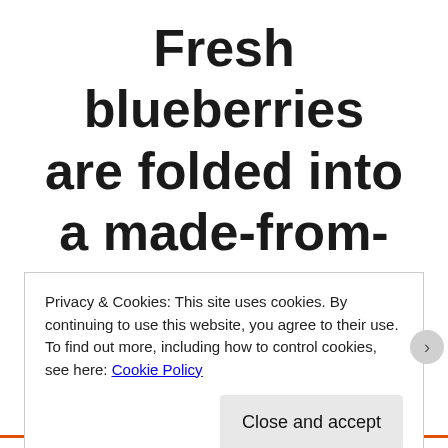Fresh blueberries are folded into a made-from-scratch batter and baked to a
Privacy & Cookies: This site uses cookies. By continuing to use this website, you agree to their use.
To find out more, including how to control cookies, see here: Cookie Policy
Close and accept